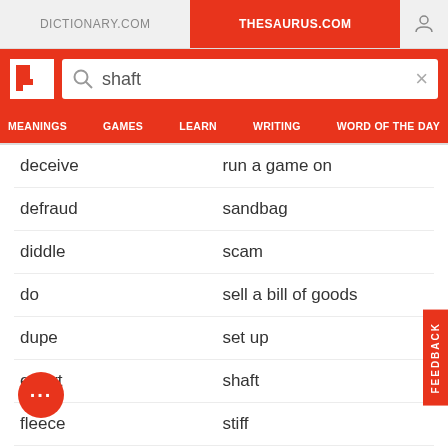DICTIONARY.COM | THESAURUS.COM
[Figure (screenshot): Search bar with query 'shaft' on red background with Thesaurus.com logo]
MEANINGS  GAMES  LEARN  WRITING  WORD OF THE DAY
deceive / run a game on
defraud / sandbag
diddle / scam
do / sell a bill of goods
dupe / set up
extort / shaft
fleece / stiff
flimflam / sting